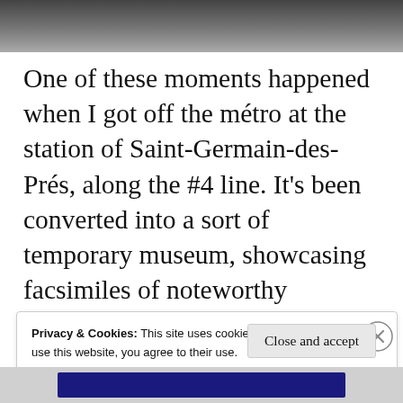[Figure (photo): Top strip showing a dark grayscale photo, partially visible, likely a Paris metro station interior.]
One of these moments happened when I got off the métro at the station of Saint-Germain-des-Prés, along the #4 line. It's been converted into a sort of temporary museum, showcasing facsimiles of noteworthy documents
Privacy & Cookies: This site uses cookies. By continuing to use this website, you agree to their use.
To find out more, including how to control cookies, see here:
Cookie Policy
Close and accept